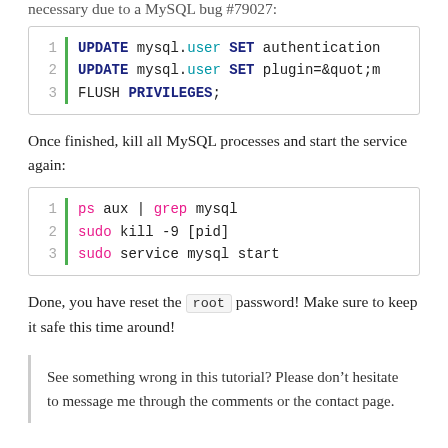necessary due to a MySQL bug #79027:
[Figure (screenshot): Code block showing SQL commands: UPDATE mysql.user SET authentication..., UPDATE mysql.user SET plugin=&quot;m..., FLUSH PRIVILEGES;]
Once finished, kill all MySQL processes and start the service again:
[Figure (screenshot): Code block showing shell commands: ps aux | grep mysql, sudo kill -9 [pid], sudo service mysql start]
Done, you have reset the root password! Make sure to keep it safe this time around!
See something wrong in this tutorial? Please don’t hesitate to message me through the comments or the contact page.